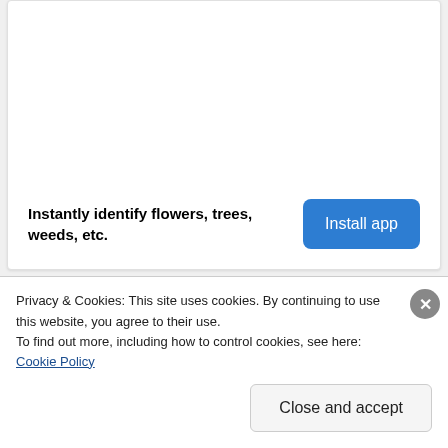Instantly identify flowers, trees, weeds, etc.
[Figure (screenshot): Install app button - blue rounded rectangle button with white text reading 'Install app']
Privacy & Cookies: This site uses cookies. By continuing to use this website, you agree to their use.
To find out more, including how to control cookies, see here: Cookie Policy
Close and accept